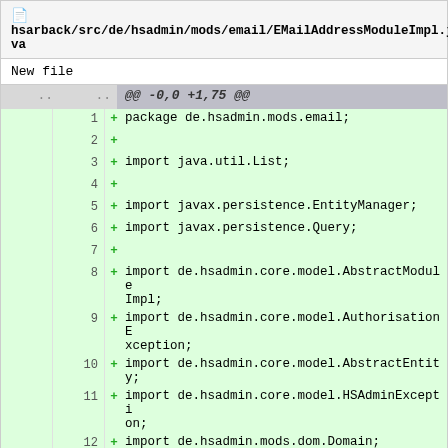hsarback/src/de/hsadmin/mods/email/EMailAddressModuleImpl.java
New file
@@ -0,0 +1,75 @@
1  + package de.hsadmin.mods.email;
2  +
3  + import java.util.List;
4  +
5  + import javax.persistence.EntityManager;
6  + import javax.persistence.Query;
7  +
8  + import de.hsadmin.core.model.AbstractModuleImpl;
9  + import de.hsadmin.core.model.AuthorisationException;
10 + import de.hsadmin.core.model.AbstractEntity;
11 + import de.hsadmin.core.model.HSAdminException;
12 + import de.hsadmin.mods.dom.Domain;
13 +
14 + public class EMailAddressModuleImpl extends AbstractModuleImpl {
15 +
16 +     @Override
17 +     public List<AbstractEntity> search(Class<? extends AbstractEntity> entityClass...